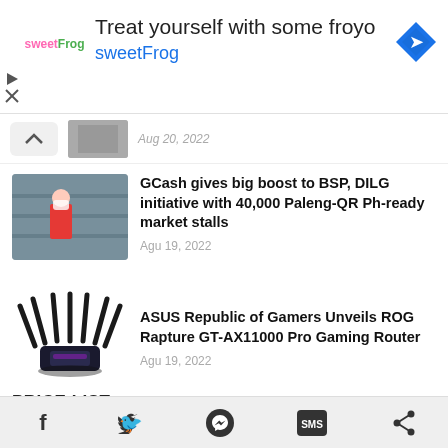[Figure (screenshot): SweetFrog frozen yogurt advertisement banner with logo, text 'Treat yourself with some froyo sweetFrog', and a blue diamond navigation icon]
[Figure (photo): Partial news item showing thumbnail and date Aug 20, 2022 with scroll up chevron]
GCash gives big boost to BSP, DILG initiative with 40,000 Paleng-QR Ph-ready market stalls
Agu 19, 2022
ASUS Republic of Gamers Unveils ROG Rapture GT-AX11000 Pro Gaming Router
Agu 19, 2022
PRICE LIST
Apple Smartphones